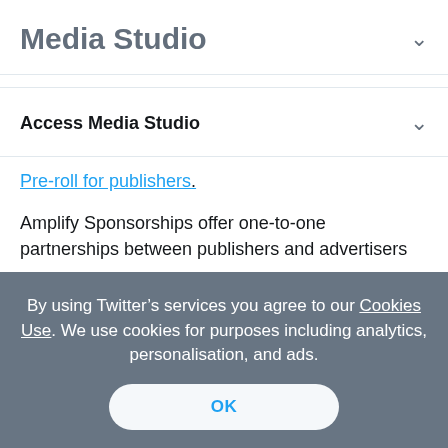Media Studio
Access Media Studio
Pre-roll for publishers.
Amplify Sponsorships offer one-to-one partnerships between publishers and advertisers
By using Twitter’s services you agree to our Cookies Use. We use cookies for purposes including analytics, personalisation, and ads.
OK